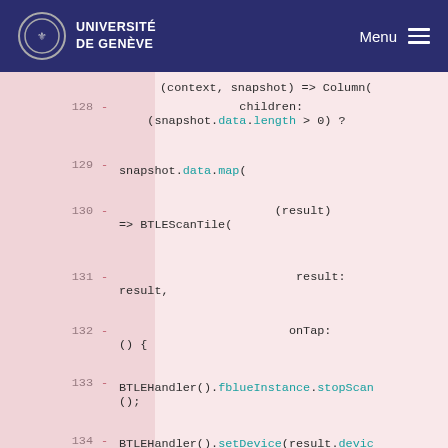UNIVERSITÉ DE GENÈVE  Menu
Code snippet lines 128-136 showing Flutter/Dart code with BTLEHandler, snapshot.data.map, BTLEScanTile, fblueInstance.stopScan, setDevice, connect